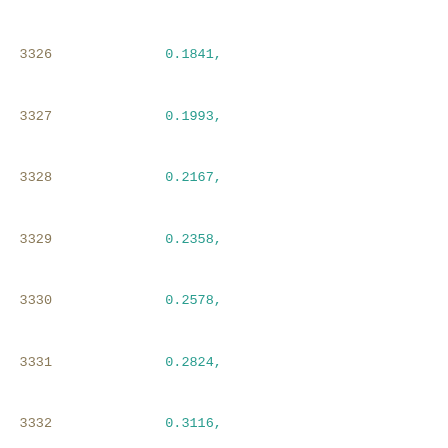3326    0.1841,
3327    0.1993,
3328    0.2167,
3329    0.2358,
3330    0.2578,
3331    0.2824,
3332    0.3116,
3333    0.3449,
3334    0.3835,
3335    0.4314,
3336    0.4884,
3337    0.5575,
3338    0.6425,
3339    0.7455,
3340    0.8717,
3341    1.0263
3342    ],
3343    [
3344    0.0843,
3345    0.1154,
3346    0.1204,